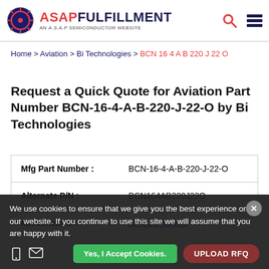[Figure (logo): ASAP Fulfillment logo — circular gear icon on left, red ASAP and dark blue FULFILLMENT text, subtitle AN A.S.A.P SEMICONDUCTOR WEBSITE]
Home > Aviation > Bi Technologies > BCN 16 4 A B 220 J 22 O
Request a Quick Quote for Aviation Part Number BCN-16-4-A-B-220-J-22-O by Bi Technologies
| Mfg Part Number : | BCN-16-4-A-B-220-J-22-O |
| Alternate P/N : | BCN164AB220J22O |
| Manufacturer: | Bi Technologies |
We use cookies to ensure that we give you the best experience on our website. If you continue to use this site we will assume that you are happy with it.